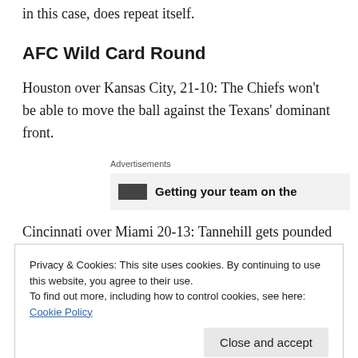in this case, does repeat itself.
AFC Wild Card Round
Houston over Kansas City, 21-10: The Chiefs won't be able to move the ball against the Texans' dominant front.
[Figure (other): Advertisement banner: 'Getting your team on the']
Cincinnati over Miami 20-13: Tannehill gets pounded by the Bengals D and loses the game … but he still wins at
Privacy & Cookies: This site uses cookies. By continuing to use this website, you agree to their use. To find out more, including how to control cookies, see here: Cookie Policy
Close and accept